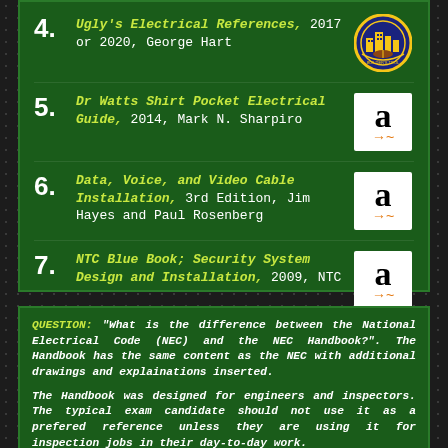4. Ugly's Electrical References, 2017 or 2020, George Hart
5. Dr Watts Shirt Pocket Electrical Guide, 2014, Mark N. Sharpiro
6. Data, Voice, and Video Cable Installation, 3rd Edition, Jim Hayes and Paul Rosenberg
7. NTC Blue Book; Security System Design and Installation, 2009, NTC
QUESTION: "What is the difference between the National Electrical Code (NEC) and the NEC Handbook?". The Handbook has the same content as the NEC with additional drawings and explainations inserted.
The Handbook was designed for engineers and inspectors. The typical exam candidate should not use it as a prefered reference unless they are using it for inspection jobs in their day-to-day work.